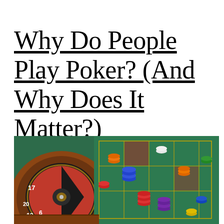Why Do People Play Poker? (And Why Does It Matter?)
[Figure (photo): A casino roulette wheel on the left side and a green roulette betting table covered with stacks of colored poker chips (red, blue, purple, orange, white, green) on the right side.]